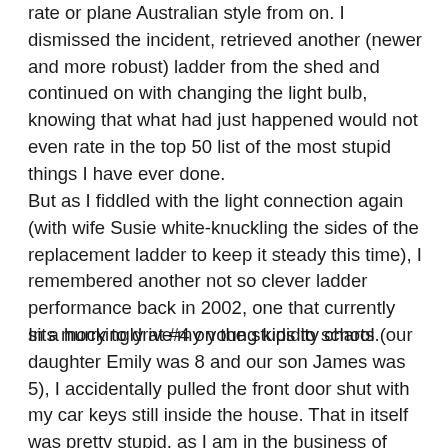rate or plane Australian style from on. I dismissed the incident, retrieved another (newer and more robust) ladder from the shed and continued on with changing the light bulb, knowing that what had just happened would not even rate in the top 50 list of the most stupid things I have ever done.
But as I fiddled with the light connection again (with wife Susie white-knuckling the sides of the replacement ladder to keep it steady this time), I remembered another not so clever ladder performance back in 2002, one that currently sits mockingly at #4 on the stupidity charts.
In a hurry to drive my young kids to school (our daughter Emily was 8 and our son James was 5), I accidentally pulled the front door shut with my car keys still inside the house. That in itself was pretty stupid, as I am in the business of importing/wholesaling door locks for a living.